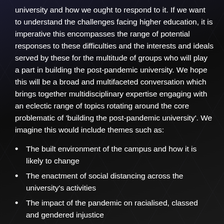university and how we ought to respond to it. If we want to understand the challenges facing higher education, it is imperative this encompasses the range of potential responses to these difficulties and the interests and ideals served by these for the multitude of groups who will play a part in building the post-pandemic university. We hope this will be a broad and multifaceted conversation which brings together multidisciplinary expertise engaging with an eclectic range of topics rotating around the core problematic of 'building the post-pandemic university'. We imagine this would include themes such as:
The built environment of the campus and how it is likely to change
The enactment of social distancing across the university's activities
The impact of the pandemic on racialised, classed and gendered injustice